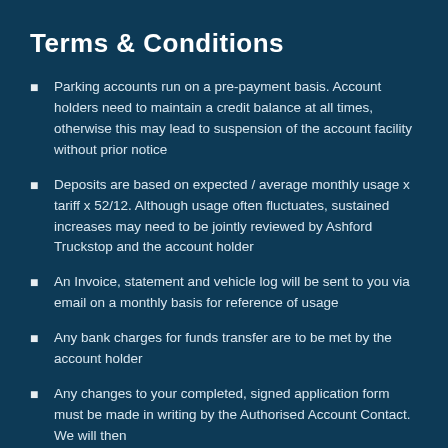Terms & Conditions
Parking accounts run on a pre-payment basis. Account holders need to maintain a credit balance at all times, otherwise this may lead to suspension of the account facility without prior notice
Deposits are based on expected / average monthly usage x tariff x 52/12. Although usage often fluctuates, sustained increases may need to be jointly reviewed by Ashford Truckstop and the account holder
An Invoice, statement and vehicle log will be sent to you via email on a monthly basis for reference of usage
Any bank charges for funds transfer are to be met by the account holder
Any changes to your completed, signed application form must be made in writing by the Authorised Account Contact. We will then